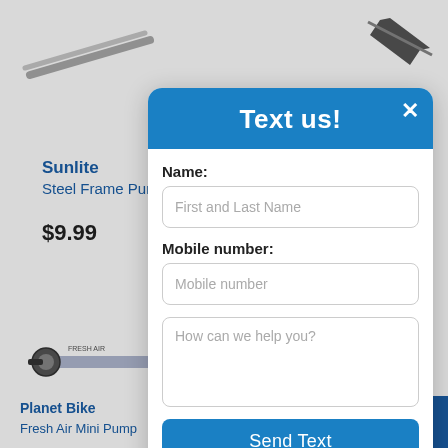[Figure (screenshot): Background e-commerce page showing bicycle pump products (Sunlite Steel Frame Pump at $9.99, Planet Bike Fresh Air Mini Pump, MSW ATB/Hybrid Mini Frame pump) with product images partially visible]
Text us!
Name:
First and Last Name
Mobile number:
Mobile number
How can we help you?
Send Text
Powered by Ikeono